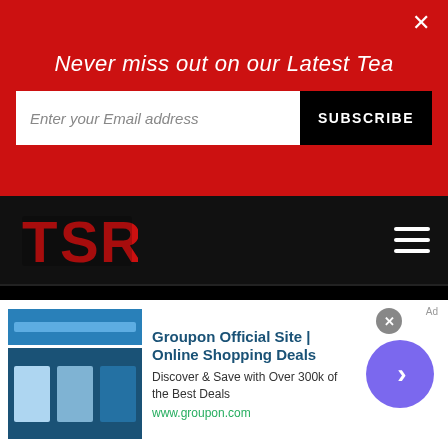Never miss out on our Latest Tea
Enter your Email address
SUBSCRIBE
[Figure (logo): TSR logo in red letters on black background]
SEARCH SUBSCRIBE
Video! Jennifer Lopez Performed a Song for Ben Affleck at Their Wedding
RELATED STORIES
[Figure (screenshot): Groupon advertisement overlay at bottom of page with text: Groupon Official Site | Online Shopping Deals. Discover & Save with Over 300k of the Best Deals. www.groupon.com]